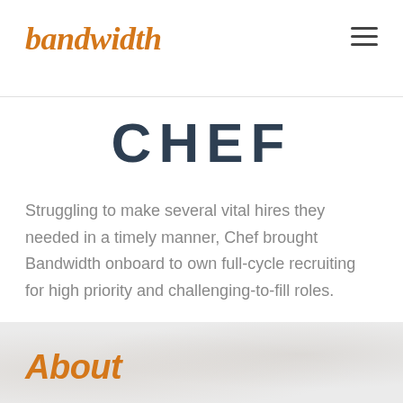bandwidth
CHEF
Struggling to make several vital hires they needed in a timely manner, Chef brought Bandwidth onboard to own full-cycle recruiting for high priority and challenging-to-fill roles.
About